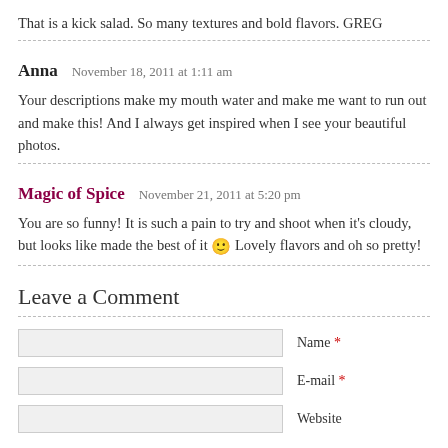That is a kick salad. So many textures and bold flavors. GREG
Anna   November 18, 2011 at 1:11 am
Your descriptions make my mouth water and make me want to run out and make this! And I always get inspired when I see your beautiful photos.
Magic of Spice   November 21, 2011 at 5:20 pm
You are so funny! It is such a pain to try and shoot when it's cloudy, but looks like made the best of it 🙂 Lovely flavors and oh so pretty!
Leave a Comment